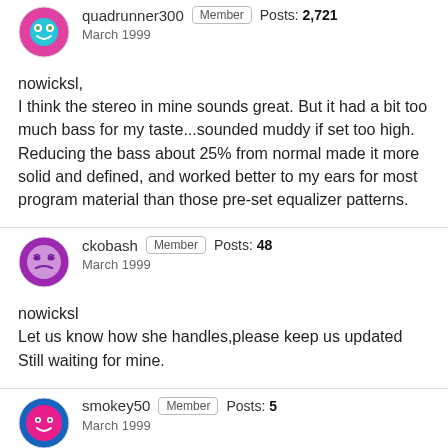[Figure (illustration): Avatar icon for quadrunner300 - pink/teal smiley face circle]
quadrunner300 Member Posts: 2,721
March 1999
nowicksl,
I think the stereo in mine sounds great. But it had a bit too much bass for my taste...sounded muddy if set too high. Reducing the bass about 25% from normal made it more solid and defined, and worked better to my ears for most program material than those pre-set equalizer patterns.
[Figure (illustration): Avatar icon for ckobash - purple sleepy face circle]
ckobash Member Posts: 48
March 1999
nowicksl
Let us know how she handles,please keep us updated Still waiting for mine.
[Figure (illustration): Avatar icon for smokey50 - pink/blue smiley face circle]
smokey50 Member Posts: 5
March 1999